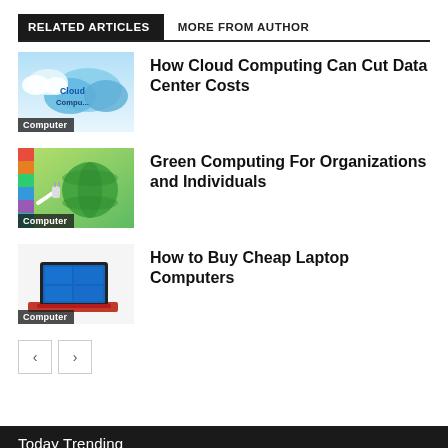RELATED ARTICLES | MORE FROM AUTHOR
[Figure (photo): Cloud Computing thumbnail with blue clouds and text 'Cloud Computing', category label: Computer]
How Cloud Computing Can Cut Data Center Costs
[Figure (photo): Green Computing thumbnail with green globe and plug, category label: Computer]
Green Computing For Organizations and Individuals
[Figure (photo): Laptop computer thumbnail with red laptop on white background, category label: Computer]
How to Buy Cheap Laptop Computers
Today Trending